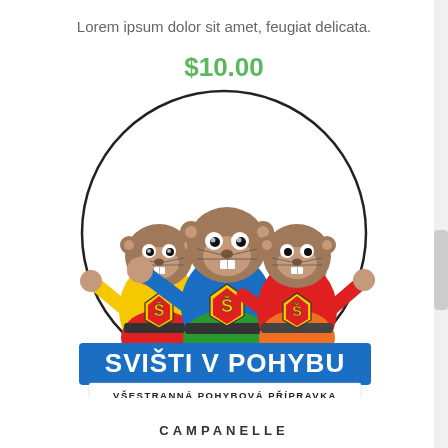Lorem ipsum dolor sit amet, feugiat delicata.
$10.00
[Figure (logo): Logo for 'Svišti v pohybu' showing three cartoon marmot/groundhog characters wearing superhero costumes with letter S on their chests, standing inside a circle. Below them is a blue banner with white text 'SVIŠTI V POHYBU' and beneath it a white banner with black text 'VŠESTRANNÁ POHYBOVÁ PŘÍPRAVKA'.]
CAMPANELLE